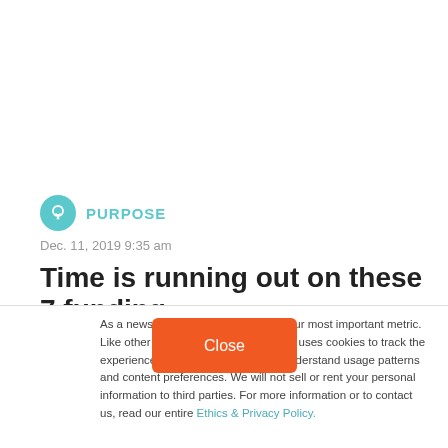PURPOSE
Dec. 11, 2019 9:35 am
Time is running out on these 7 funding opportunities
As a news organization, your trust is our most important metric. Like other websites, Technically Media uses cookies to track the experience of our readers, to better understand usage patterns and content preferences. We will not sell or rent your personal information to third parties. For more information or to contact us, read our entire Ethics & Privacy Policy.
Close